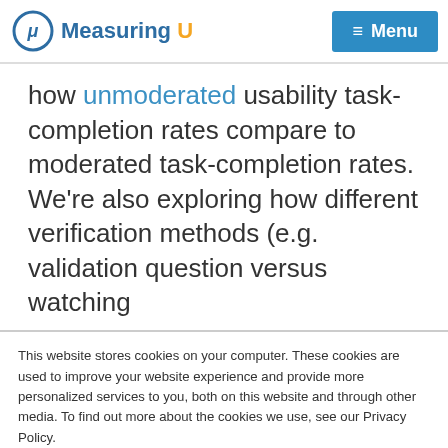Measuring U — Menu
how unmoderated usability task-completion rates compare to moderated task-completion rates. We're also exploring how different verification methods (e.g. validation question versus watching
This website stores cookies on your computer. These cookies are used to improve your website experience and provide more personalized services to you, both on this website and through other media. To find out more about the cookies we use, see our Privacy Policy.
We won't track your information when you visit our site. But in order to comply with your preferences, we'll have to use just one tiny cookie so that you're not asked to make this choice again.
Accept   Decline